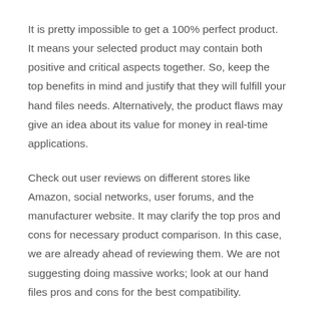It is pretty impossible to get a 100% perfect product. It means your selected product may contain both positive and critical aspects together. So, keep the top benefits in mind and justify that they will fulfill your hand files needs. Alternatively, the product flaws may give an idea about its value for money in real-time applications.
Check out user reviews on different stores like Amazon, social networks, user forums, and the manufacturer website. It may clarify the top pros and cons for necessary product comparison. In this case, we are already ahead of reviewing them. We are not suggesting doing massive works; look at our hand files pros and cons for the best compatibility.
Pricing:
Price can control the interest of a user or buyer to buy the respective product. It can determine how many features and